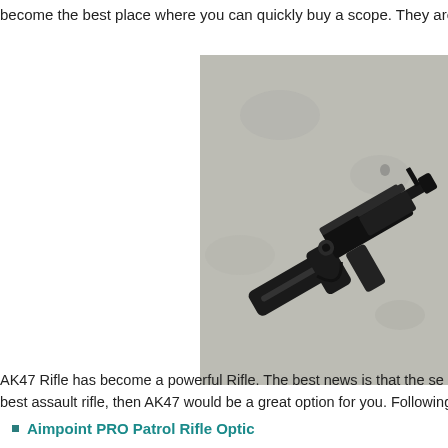become the best place where you can quickly buy a scope. They are a
[Figure (photo): An AK47 rifle with black stock laying on a concrete/grey surface, photographed from above at an angle.]
AK47 Rifle has become a powerful Rifle. The best news is that the se best assault rifle, then AK47 would be a great option for you. Following
Aimpoint PRO Patrol Rifle Optic